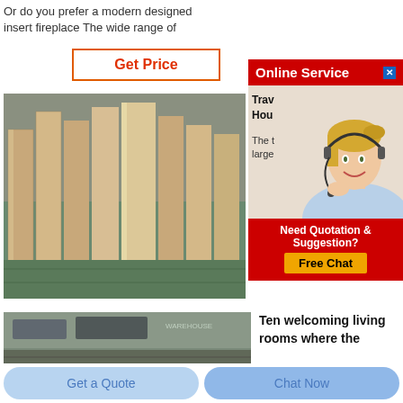Or do you prefer a modern designed insert fireplace The wide range of
Get Price
[Figure (photo): Rows of rectangular firebrick/refractory brick blocks standing upright in a warehouse or factory setting]
[Figure (screenshot): Online Service advertisement with a female customer service agent wearing headset. Red header reading 'Online Service', text 'Trav Hou' and 'The t large', red footer with 'Need Quotation & Suggestion?' and yellow 'Free Chat' button]
Trav Hou
The t large
[Figure (photo): Partial view of a warehouse or factory interior with equipment]
Ten welcoming living rooms where the
Get a Quote
Chat Now